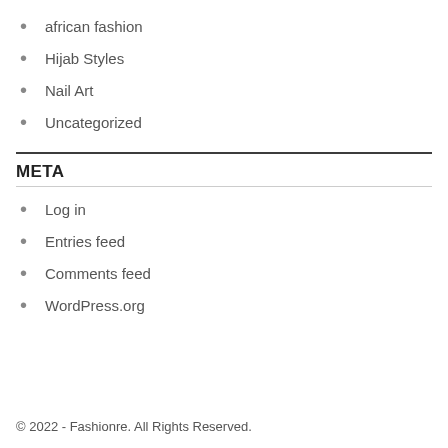african fashion
Hijab Styles
Nail Art
Uncategorized
META
Log in
Entries feed
Comments feed
WordPress.org
© 2022 - Fashionre. All Rights Reserved.